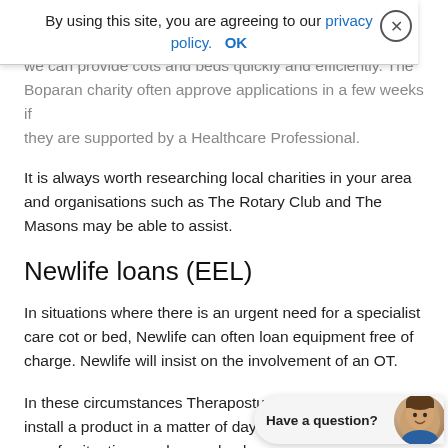Theraposture has a long-standing relationship with Newlife and we can provide cots and beds quickly and efficiently. The Boparan charity often approve applications in a few weeks if they are supported by a Healthcare Professional.
It is always worth researching local charities in your area and organisations such as The Rotary Club and The Masons may be able to assist.
Newlife loans (EEL)
In situations where there is an urgent need for a specialist care cot or bed, Newlife can often loan equipment free of charge. Newlife will insist on the involvement of an OT.
In these circumstances Theraposture can deliver and install a product in a matter of days so a desperate and unsafe situation can be resolved.
Newlife then contact Statutory Services on behalf of the recipient to ascertain whether a permanent solution is possible. Often, the loan bed is proven to be absolutely essential so Social Services then have the option to fund the bed or seek